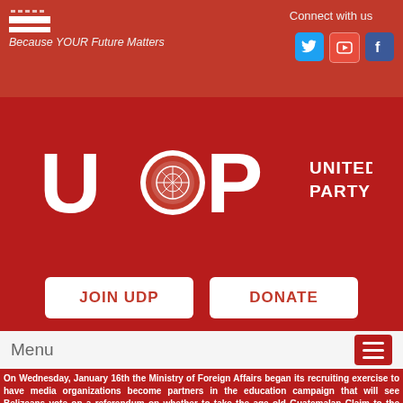[Figure (logo): Small flag icon - red and white horizontal stripes]
Because YOUR Future Matters
Connect with us
[Figure (logo): Social media icons: Twitter (blue bird), YouTube (red), Facebook (blue)]
[Figure (logo): UDP logo with text UDP and circular emblem, next to UNITED DEMOCRATIC PARTY text]
JOIN UDP
DONATE
Menu
On Wednesday, January 16th the Ministry of Foreign Affairs began its recruiting exercise to have media organizations become partners in the education campaign that will see Belizeans vote on a referendum on whether to take the age old Guatemalan Claim to the International Court of Justice (ICJ) or not.
Presenting at the media mixer was Minister of Foreign Affairs, Hon. Wilfred Elrington. He explained that by all indications, Guatemalan Government officials are confident that they will be...